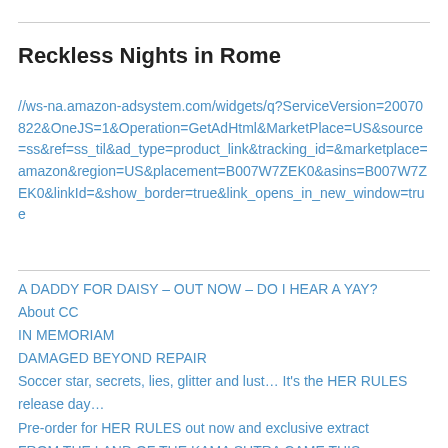Reckless Nights in Rome
//ws-na.amazon-adsystem.com/widgets/q?ServiceVersion=20070822&OneJS=1&Operation=GetAdHtml&MarketPlace=US&source=ss&ref=ss_til&ad_type=product_link&tracking_id=&marketplace=amazon&region=US&placement=B007W7ZEK0&asins=B007W7ZEK0&linkId=&show_border=true&link_opens_in_new_window=true
A DADDY FOR DAISY – OUT NOW – DO I HEAR A YAY?
About CC
IN MEMORIAM
DAMAGED BEYOND REPAIR
Soccer star, secrets, lies, glitter and lust… It's the HER RULES release day…
Pre-order for HER RULES out now and exclusive extract
FROM THE LAND OF THE KAMA SUTRA CAME THIS……
News Flash! Meet me in London?